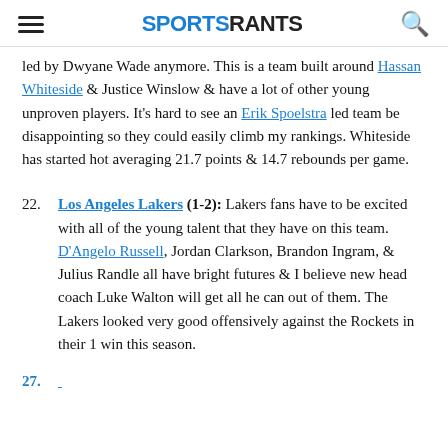SPORTSRANTS
led by Dwyane Wade anymore. This is a team built around Hassan Whiteside & Justice Winslow & have a lot of other young unproven players. It's hard to see an Erik Spoelstra led team be disappointing so they could easily climb my rankings. Whiteside has started hot averaging 21.7 points & 14.7 rebounds per game.
22. Los Angeles Lakers (1-2): Lakers fans have to be excited with all of the young talent that they have on this team. D'Angelo Russell, Jordan Clarkson, Brandon Ingram, & Julius Randle all have bright futures & I believe new head coach Luke Walton will get all he can out of them. The Lakers looked very good offensively against the Rockets in their 1 win this season.
27. ...